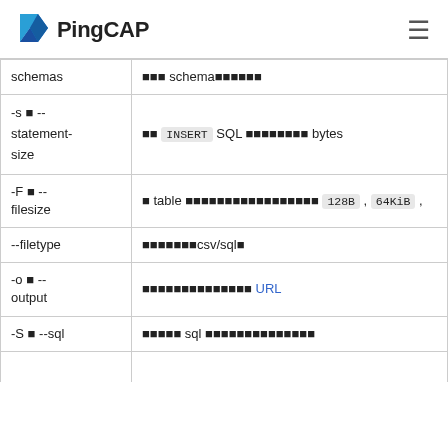PingCAP
| Option | Description |
| --- | --- |
| schemas | ■■■ schema■■■■■■ |
| -s ■ --
statement-size | ■■ INSERT SQL ■■■■■■■■ bytes |
| -F ■ --
filesize | ■ table ■■■■■■■■■■■■■■■■■■ 128B , 64KiB , |
| --filetype | ■■■■■■■csv/sql■ |
| -o ■ --
output | ■■■■■■■■■■■■■■ URL |
| -S ■ --sql | ■■■■■ sql ■■■■■■■■■■■■■■ |